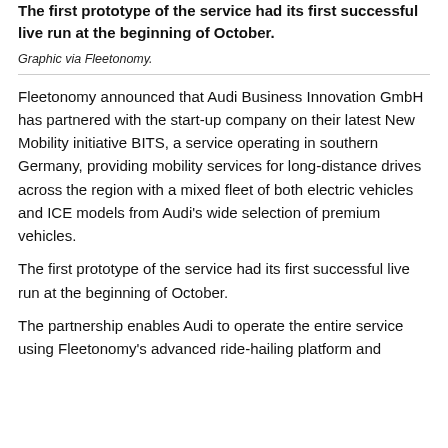The first prototype of the service had its first successful live run at the beginning of October.
Graphic via Fleetonomy.
Fleetonomy announced that Audi Business Innovation GmbH has partnered with the start-up company on their latest New Mobility initiative BITS, a service operating in southern Germany, providing mobility services for long-distance drives across the region with a mixed fleet of both electric vehicles and ICE models from Audi's wide selection of premium vehicles.
The first prototype of the service had its first successful live run at the beginning of October.
The partnership enables Audi to operate the entire service using Fleetonomy's advanced ride-hailing platform and